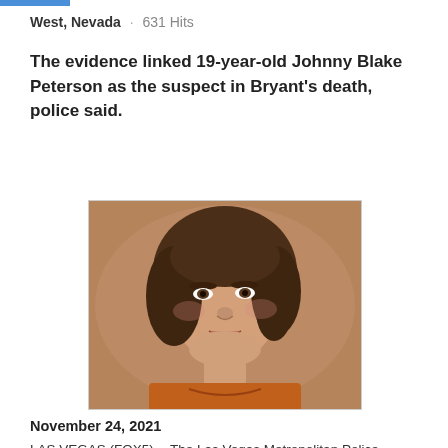West, Nevada · 631 Hits
The evidence linked 19-year-old Johnny Blake Peterson as the suspect in Bryant's death, police said.
[Figure (photo): Vintage sepia-toned portrait photo of a young woman with short brown hair, wearing an orange top, looking directly at the camera.]
November 24, 2021
LAS VEGAS (FOX5) -- The Las Vegas Metropolitan Police Department announced Monday that a cold case